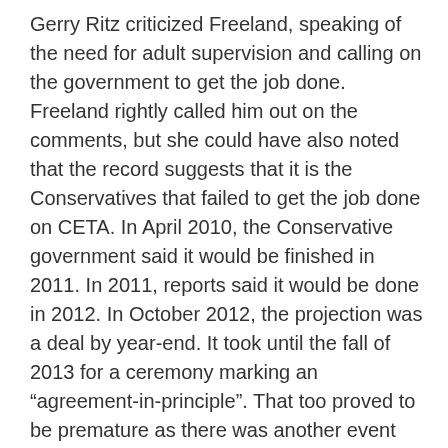Gerry Ritz criticized Freeland, speaking of the need for adult supervision and calling on the government to get the job done. Freeland rightly called him out on the comments, but she could have also noted that the record suggests that it is the Conservatives that failed to get the job done on CETA. In April 2010, the Conservative government said it would be finished in 2011. In 2011, reports said it would be done in 2012. In October 2012, the projection was a deal by year-end. It took until the fall of 2013 for a ceremony marking an “agreement-in-principle”. That too proved to be premature as there was another event celebrating an official draft in 2014 followed by more legal drafting and the renegotiation of controversial ISDS provisions that led to the release of another text earlier this year. In other words, Freeland inherited far less than advertised on CETA and the Conservatives might not want to remind the public that their biggest trade accomplishment never actually involved a signed, final text.